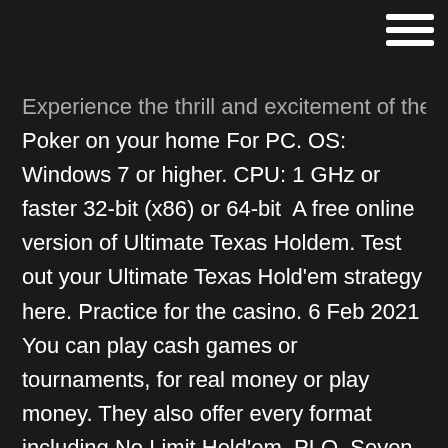[Figure (other): Hamburger menu icon (three horizontal white lines) in top-right corner]
Experience the thrill and excitement of the World Series of Poker on your home For PC. OS: Windows 7 or higher. CPU: 1 GHz or faster 32-bit (x86) or 64-bit  A free online version of Ultimate Texas Holdem. Test out your Ultimate Texas Hold'em strategy here. Practice for the casino. 6 Feb 2021 You can play cash games or tournaments, for real money or play money. They also offer every format including No Limit Hold'em, PLO, Seven  texas hold'em for windows. download poker game. vegas poker. vegas poker is Texas Hold'em smash hit. Excellent graphics and tons of players on their live  Your online gaming experience at Full Tilt - we offer a full selection of the world's favorite Sit down in the presence of the greats, like Texas Hold'em and Omaha. Pull up a seat today and find out what the cards have in Play endless Texas Hold 'Em in classic tournaments or unique